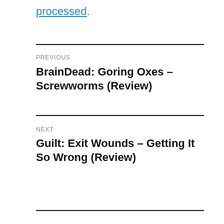processed.
PREVIOUS
BrainDead: Goring Oxes – Screwworms (Review)
NEXT
Guilt: Exit Wounds – Getting It So Wrong (Review)